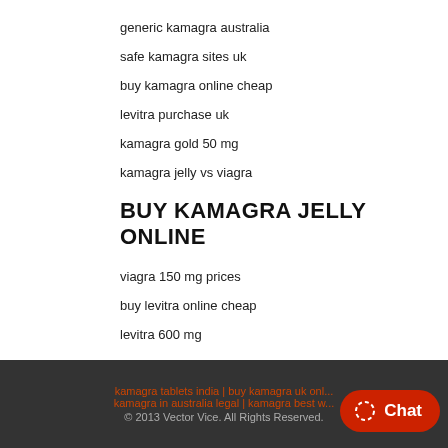generic kamagra australia
safe kamagra sites uk
buy kamagra online cheap
levitra purchase uk
kamagra gold 50 mg
kamagra jelly vs viagra
BUY KAMAGRA JELLY ONLINE
viagra 150 mg prices
buy levitra online cheap
levitra 600 mg
kamagra tablets india | buy kamagra uk onl... kamagra in australia legal | kamagra best w... © 2013 Vector Vice. All Rights Reserved.